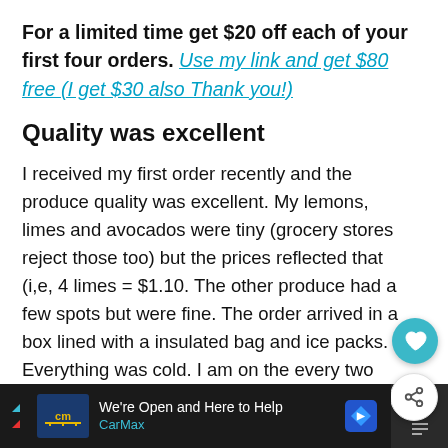For a limited time get $20 off each of your first four orders. Use my link and get $80 free  (I get $30 also Thank you!)
Quality was excellent
I received my first order recently and the produce quality was excellent.  My lemons, limes and avocados were tiny (grocery stores reject those too) but the prices reflected that (i,e, 4 limes = $1.10.  The other produce had a few spots but were fine.  The order arrived in a box lined with a insulated bag and ice packs.  Everything was cold.  I am on the every two week
[Figure (other): CarMax advertisement banner at the bottom of the page: 'We're Open and Here to Help' with CarMax logo and navigation arrow icon]